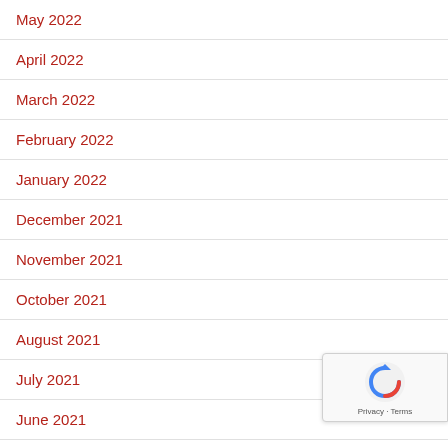May 2022
April 2022
March 2022
February 2022
January 2022
December 2021
November 2021
October 2021
August 2021
July 2021
June 2021
May 2021
April 2021